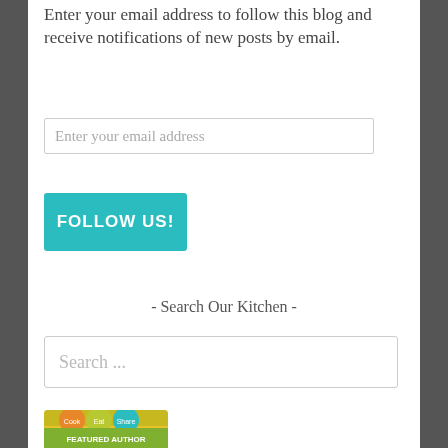Enter your email address to follow this blog and receive notifications of new posts by email.
Enter your email address
FOLLOW US!
- Search Our Kitchen -
Search ...
[Figure (illustration): Cook Eat Share Featured Author badge with green background and photo of two people smiling]